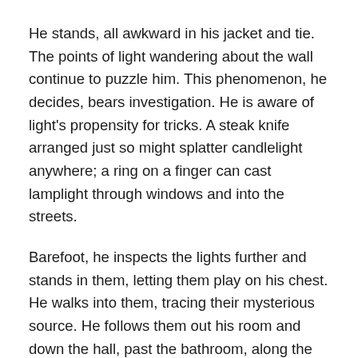He stands, all awkward in his jacket and tie. The points of light wandering about the wall continue to puzzle him. This phenomenon, he decides, bears investigation. He is aware of light's propensity for tricks. A steak knife arranged just so might splatter candlelight anywhere; a ring on a finger can cast lamplight through windows and into the streets.
Barefoot, he inspects the lights further and stands in them, letting them play on his chest. He walks into them, tracing their mysterious source. He follows them out his room and down the hall, past the bathroom, along the banister-railed balcony which overlooks an ornate dining room.  He hears the metallic clatter of cooking noises, filtered upwards from the kitchen, directly beneath him. The lights are larger and stranger now; standing in them, one could imagine pixies were fluttering about beneath one's clothes.  He observes